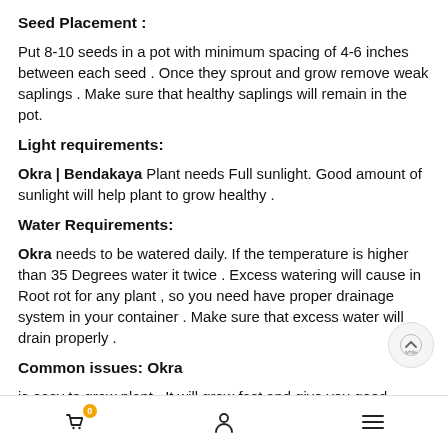Seed Placement :
Put 8-10 seeds in a pot with minimum spacing of 4-6 inches between each seed . Once they sprout and grow remove weak saplings . Make sure that healthy saplings will remain in the pot.
Light requirements:
Okra | Bendakaya Plant needs Full sunlight. Good amount of sunlight will help plant to grow healthy .
Water Requirements:
Okra needs to be watered daily. If the temperature is higher than 35 Degrees water it twice . Excess watering will cause in Root rot for any plant , so you need have proper drainage system in your container . Make sure that excess water will drain properly .
Common issues: Okra
is easy to grow plant . It will grow fast and give you good amount of fruits . The common issues you face while growing Okra| Bendakaya are Leaf Curling and White Mealy bug .
0  [user icon]  [menu icon]